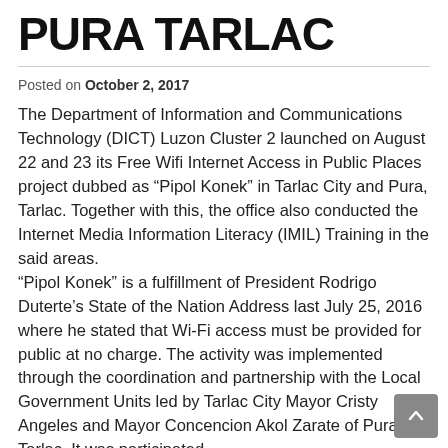PURA TARLAC
Posted on October 2, 2017
The Department of Information and Communications Technology (DICT) Luzon Cluster 2 launched on August 22 and 23 its Free Wifi Internet Access in Public Places project dubbed as “Pipol Konek” in Tarlac City and Pura, Tarlac. Together with this, the office also conducted the Internet Media Information Literacy (IMIL) Training in the said areas.
“Pipol Konek” is a fulfillment of President Rodrigo Duterte’s State of the Nation Address last July 25, 2016 where he stated that Wi-Fi access must be provided for public at no charge. The activity was implemented through the coordination and partnership with the Local Government Units led by Tarlac City Mayor Cristy Angeles and Mayor Concencion Akol Zarate of Pura, Tarlac. It was participated